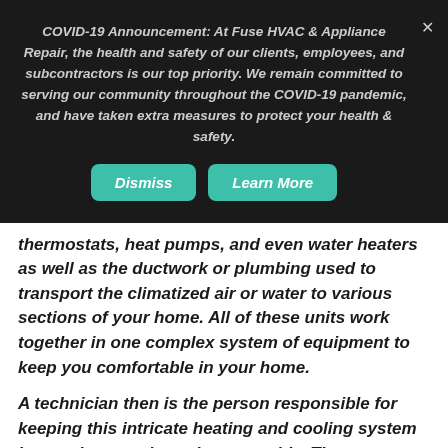COVID-19 Announcement: At Fuse HVAC & Appliance Repair, the health and safety of our clients, employees, and subcontractors is our top priority. We remain committed to serving our community throughout the COVID-19 pandemic, and have taken extra measures to protect your health & safety.
Dismiss | Learn More
thermostats, heat pumps, and even water heaters as well as the ductwork or plumbing used to transport the climatized air or water to various sections of your home. All of these units work together in one complex system of equipment to keep you comfortable in your home.
A technician then is the person responsible for keeping this intricate heating and cooling system in top shape and running smoothly. These professionals are highly trained individuals who are there to help homeowners at every step of the process from purchase to installation and replacement. Since most homeowners